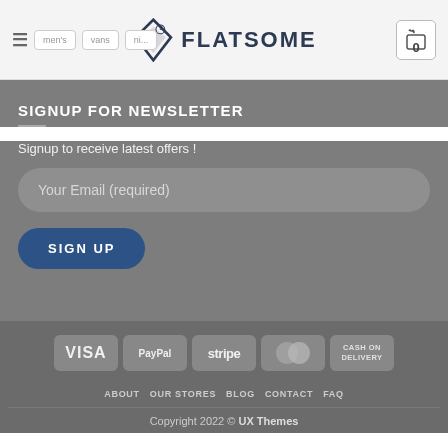Flatsome - navigation header with logo and cart
SIGNUP FOR NEWSLETTER
Signup to receive latest offers !
Your Email (required)
SIGN UP
[Figure (other): Payment method badges: VISA, PayPal, stripe, MasterCard, CASH ON DELIVERY]
ABOUT  OUR STORES  BLOG  CONTACT  FAQ
Copyright 2022 © UX Themes